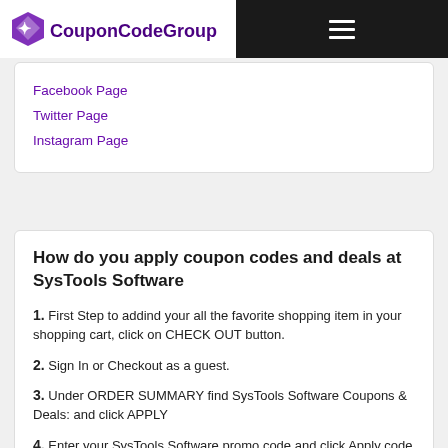CouponCodeGroup
Facebook Page
Twitter Page
Instagram Page
How do you apply coupon codes and deals at SysTools Software
1. First Step to addind your all the favorite shopping item in your shopping cart, click on CHECK OUT button.
2. Sign In or Checkout as a guest.
3. Under ORDER SUMMARY find SysTools Software Coupons & Deals: and click APPLY
4. Enter your SysTools Software promo code and click Apply code